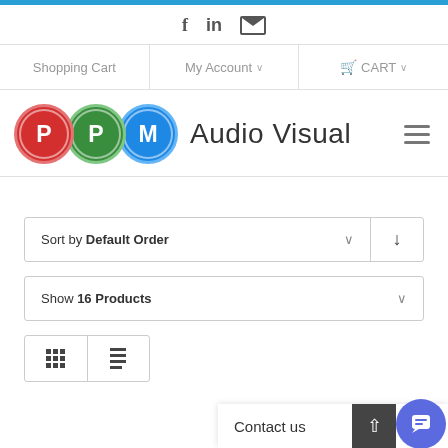f  in  [mail icon]
Shopping Cart  |  My Account ∨  |  🛒 CART ∨
[Figure (logo): PPM Audio Visual logo: three overlapping circles (red P, green P, blue M) followed by text 'Audio Visual']
Sort by Default Order ∨  ↓
Show 16 Products ∨
[Figure (infographic): Grid view and list view toggle buttons, followed by 'Contact us' bar with up arrow and chat bubble button]